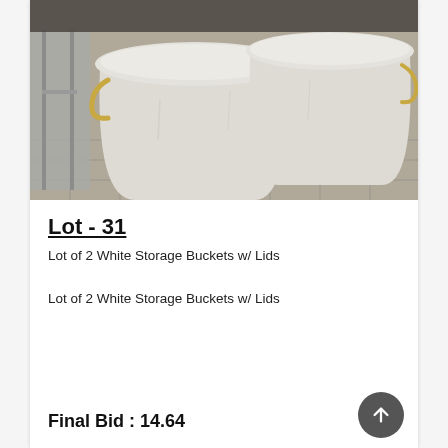[Figure (photo): Two large white plastic storage buckets with lids sitting on a tile floor next to a metal shelving unit]
Lot - 31
Lot of 2 White Storage Buckets w/ Lids
Lot of 2 White Storage Buckets w/ Lids
Final Bid : 14.64